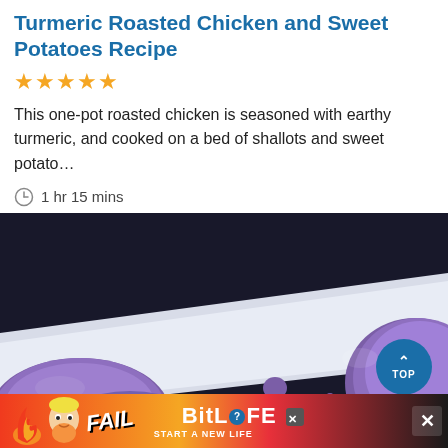Turmeric Roasted Chicken and Sweet Potatoes Recipe
[Figure (other): Five gold star rating icons]
This one-pot roasted chicken is seasoned with earthy turmeric, and cooked on a bed of shallots and sweet potato…
1 hr 15 mins
[Figure (photo): Close-up photo of purple/violet colored food items on a white plate against a dark background, with a 'TOP' navigation button overlay]
[Figure (other): Advertisement banner for BitLife game showing 'FAIL' text, animated character, and 'START A NEW LIFE' tagline with a close button]